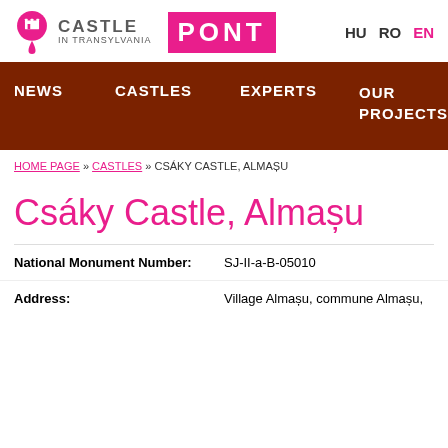CASTLE IN TRANSYLVANIA | PONT | HU RO EN
[Figure (screenshot): Navigation bar with dark brown background showing menu items: NEWS, CASTLES, EXPERTS, OUR PROJECTS, A... U...]
HOME PAGE » CASTLES » CSÁKY CASTLE, ALMAȘU
Csáky Castle, Almașu
National Monument Number: SJ-II-a-B-05010
Address: Village Almașu, commune Almașu,